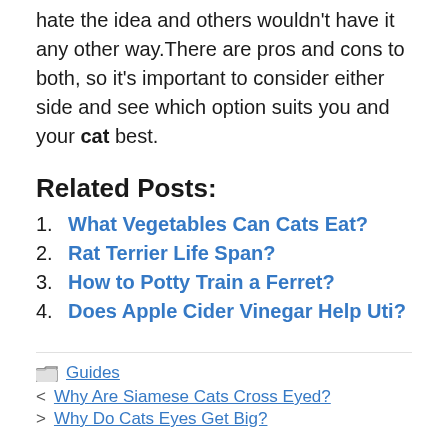hate the idea and others wouldn't have it any other way.There are pros and cons to both, so it's important to consider either side and see which option suits you and your cat best.
Related Posts:
What Vegetables Can Cats Eat?
Rat Terrier Life Span?
How to Potty Train a Ferret?
Does Apple Cider Vinegar Help Uti?
Guides
< Why Are Siamese Cats Cross Eyed?
> Why Do Cats Eyes Get Big?